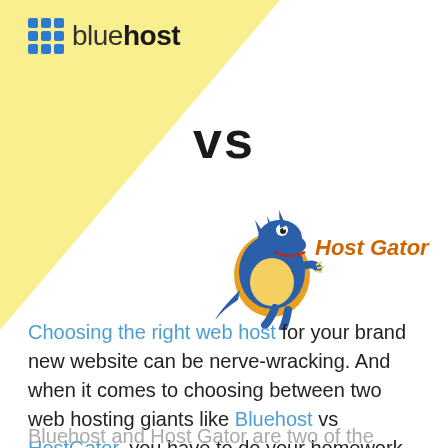[Figure (logo): Bluehost logo with blue 3x3 grid icon and the text 'bluehost' in gray/black sans-serif font]
vs
[Figure (logo): HostGator logo with a cartoon blue and yellow alligator and the text 'Host Gator' in orange/gold stylized lettering]
Choosing the right web host for your brand new website can be nerve-wracking. And when it comes to choosing between two web hosting giants like Bluehost vs HostGator, you have to do your homework.
Bluehost and Host Gator are two of the most